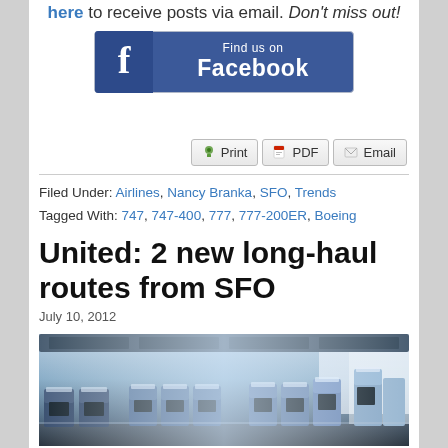here to receive posts via email. Don't miss out!
[Figure (logo): Find us on Facebook banner button with Facebook logo]
[Figure (other): Print, PDF, Email action buttons]
Filed Under: Airlines, Nancy Branka, SFO, Trends
Tagged With: 747, 747-400, 777, 777-200ER, Boeing
United: 2 new long-haul routes from SFO
July 10, 2012
[Figure (photo): Interior of an airplane cabin showing rows of business class or economy seats with blue upholstery and personal TV screens]